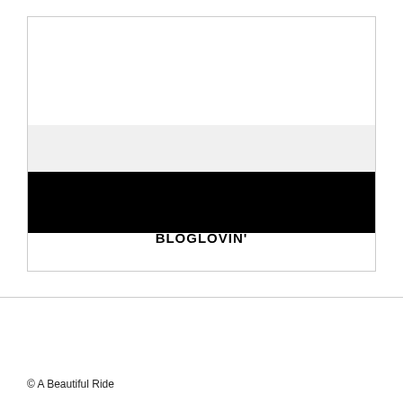[Figure (logo): Bloglovin' logo card with a light gray bar and a black bar, followed by the text BLOGLOVIN' in bold]
© A Beautiful Ride